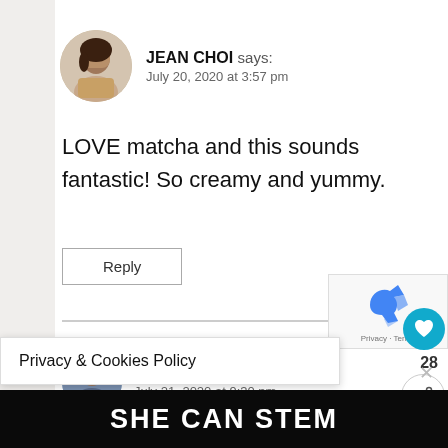JEAN CHOI says:
July 20, 2020 at 3:57 pm
LOVE matcha and this sounds fantastic! So creamy and yummy.
Reply
Privacy & Cookies Policy
says:
July 21, 2020 at 9:30 pm
This is such a delicious way to start the day! So
WHAT'S NEXT → The Top 4 Health...
28
SHE CAN STEM